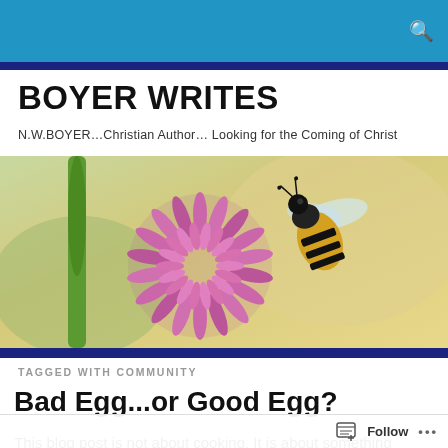Boyer Writes – blog website header bar with search icon
BOYER WRITES
N.W.BOYER…Christian Author… Looking for the Coming of Christ
[Figure (photo): Close-up photograph of a bumble bee approaching a purple/pink chive flower, with a blurred green and yellow background.]
TAGGED WITH COMMUNITY
Bad Egg...or Good Egg?
This blog post is not about cooking. It is about something
Follow  •••